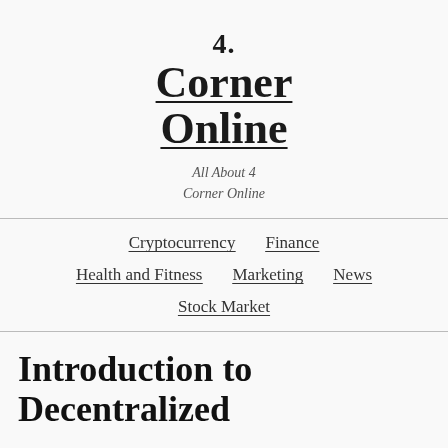[Figure (logo): 4 Corner Online logo with serif bold text and underline, tagline 'All About 4 Corner Online']
Cryptocurrency   Finance   Health and Fitness   Marketing   News   Stock Market
Introduction to Decentralized